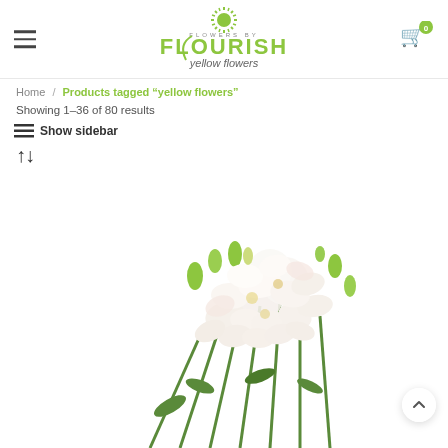Flowers by Flourish — yellow flowers
Home / Products tagged "yellow flowers"
Showing 1–36 of 80 results
Show sidebar
↑↓
[Figure (photo): Bouquet of white and light yellow freesia flowers with green leaves and buds on a white background]